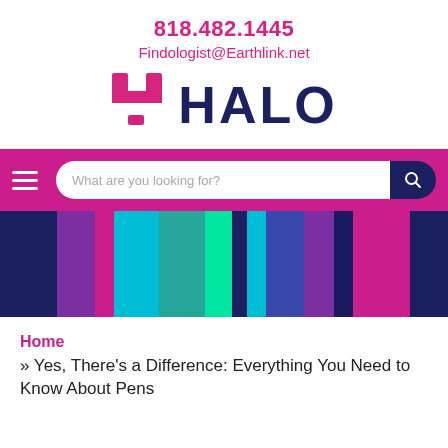818.482.1445
Findologist@Earthlink.net
[Figure (logo): HALO branded logo with pink/magenta H icon and dark navy HALO text]
[Figure (screenshot): Magenta navigation bar with hamburger menu icon on left and search bar 'What are you looking for?' on right with dark navy search button, followed by colorful vertical stripe banner in dark blue, purple, magenta, cyan, teal, green, blue, purple, magenta, dark navy colors]
Home
» Yes, There's a Difference: Everything You Need to Know About Pens